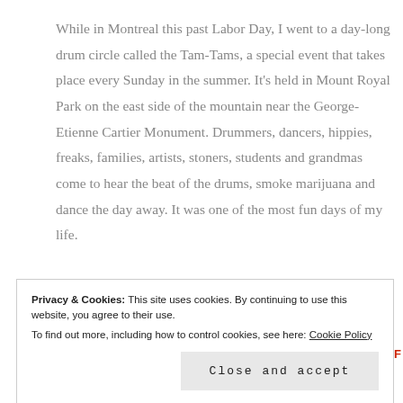While in Montreal this past Labor Day, I went to a day-long drum circle called the Tam-Tams, a special event that takes place every Sunday in the summer. It’s held in Mount Royal Park on the east side of the mountain near the George-Etienne Cartier Monument. Drummers, dancers, hippies, freaks, families, artists, stoners, students and grandmas come to hear the beat of the drums, smoke marijuana and dance the day away. It was one of the most fun days of my life.
Privacy & Cookies: This site uses cookies. By continuing to use this website, you agree to their use.
To find out more, including how to control cookies, see here: Cookie Policy
Close and accept
learning go hand in hand. Travel teaches us not